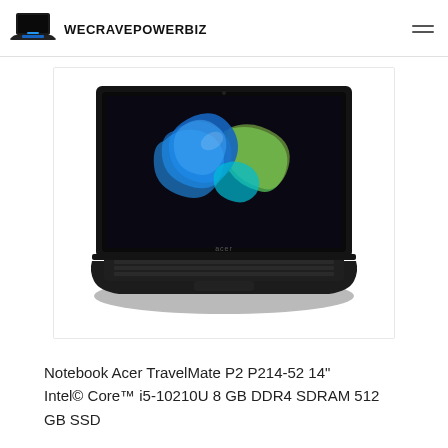WECRAVEPOWERBIZ
[Figure (photo): Acer TravelMate P2 P214-52 laptop with black chassis, open lid showing colorful abstract wallpaper on screen]
Notebook Acer TravelMate P2 P214-52 14" Intel© Core™ i5-10210U 8 GB DDR4 SDRAM 512 GB SSD